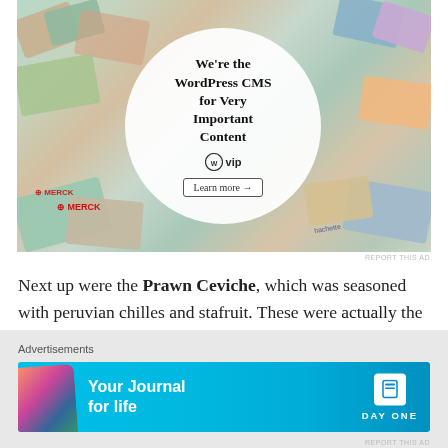[Figure (illustration): WordPress VIP advertisement banner showing 'We're the WordPress CMS for Very Important Content' with WP VIP logo and 'Learn more' button, surrounded by colorful brand logos/cards]
Next up were the Prawn Ceviche, which was seasoned with peruvian chilles and stafruit. These were actually the whole prawn, rather than chopped up pieces. Very fresh and they were well seasoned and worked well with the
Advertisements
[Figure (illustration): Day One app advertisement: 'Your Journal for life' with phone mockup and Day One logo on cyan/blue background]